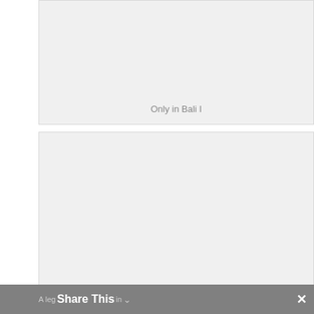[Figure (photo): Light gray placeholder image box with caption 'Only in Bali I' at the bottom center]
Only in Bali I
[Figure (photo): Light gray placeholder image box, larger, no visible caption text]
A leg Share This in ∨  ×